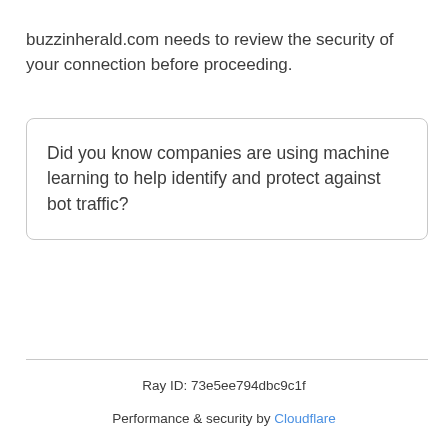buzzinherald.com needs to review the security of your connection before proceeding.
Did you know companies are using machine learning to help identify and protect against bot traffic?
Ray ID: 73e5ee794dbc9c1f
Performance & security by Cloudflare